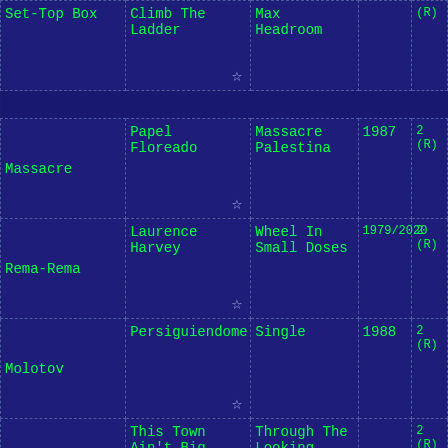| Artist | Song | Album | Year | (R) |
| --- | --- | --- | --- | --- |
| Set-Top Box | Climb The Ladder | Max Headroom |  | (R) |
| Massacre | Papel Floreado | Massacre Palestina | 1987 | 2 (R) |
| Rema-Rema | Laurence Harvey | Wheel In Small Doses | 1979/2020 | 2 (R) |
| Molotov | Persiguiendome | Single | 1988 | 2 (R) |
| Siouxsie and the Banshees | This Town Ain't Big Enough for Both of Us | Through The Looking Glass |  | 2 (R) |
| The Higsons | Annie & Billy | The Curse Of The Higsons |  | 2 (R) |
| Kid Creole & the Coconuts | There But For The Grace of God Go I | Anthology 1 |  | 2 (R) |
| Belle Epoque | Miss Broadway | il meglio |  | 2 (R) |